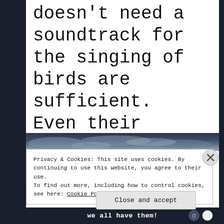doesn't need a soundtrack for the singing of birds are sufficient. Even their wings is music itself.
[Figure (photo): A dark blue/grey cloudy sky image strip visible at top of cookie banner area]
Privacy & Cookies: This site uses cookies. By continuing to use this website, you agree to their use.
To find out more, including how to control cookies, see here: Cookie Policy
Close and accept
we all have them!